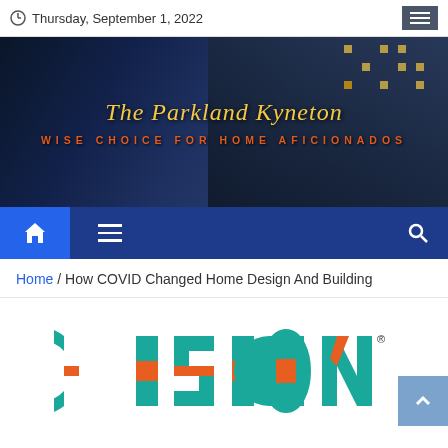Thursday, September 1, 2022
[Figure (photo): The Parkland Kyneton website header banner showing a dark building at night with yellow-lit windows and overlay text]
The Parkland Kyneton
WISE CHOICE FOR HOME AFICIONADOS
[Figure (screenshot): Navigation bar with home icon, hamburger menu, and search icon on dark blue background]
Home / How COVID Changed Home Design And Building
[Figure (logo): Cision logo with teal and orange colored letters spelling CISION with registered trademark symbol]